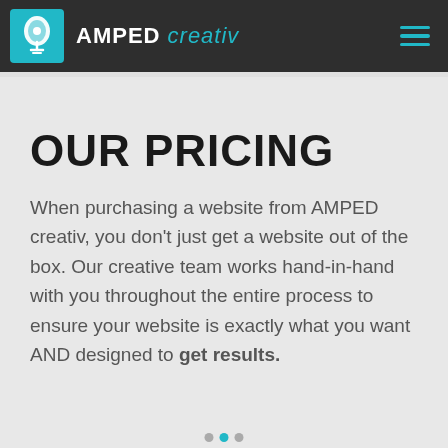AMPED creativ
OUR PRICING
When purchasing a website from AMPED creativ, you don't just get a website out of the box. Our creative team works hand-in-hand with you throughout the entire process to ensure your website is exactly what you want AND designed to get results.